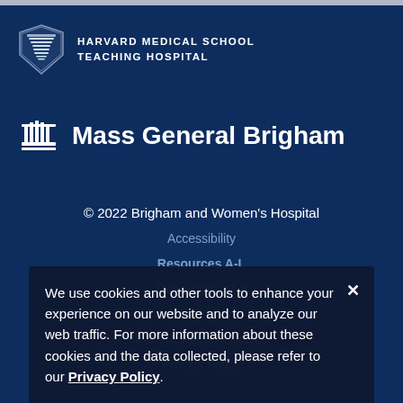[Figure (logo): Harvard Medical School shield logo and text reading HARVARD MEDICAL SCHOOL TEACHING HOSPITAL]
[Figure (logo): Mass General Brigham logo with columned building icon and text Mass General Brigham]
© 2022 Brigham and Women's Hospital
Accessibility
Resources A-L
Resources M-Z
Disclaimer
Patient Privacy Notice
Privacy Policy
We use cookies and other tools to enhance your experience on our website and to analyze our web traffic. For more information about these cookies and the data collected, please refer to our Privacy Policy.